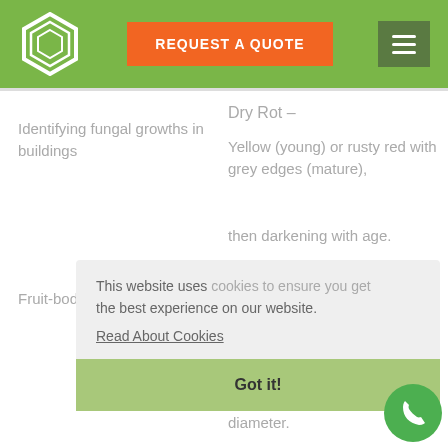[Figure (logo): White hexagonal building/pages logo on green background]
REQUEST A QUOTE
Identifying fungal growths in buildings
Dry Rot –
Yellow (young) or rusty red with grey edges (mature),
then darkening with age.
Fruit-bodies.
Mature surface has shallow pores or folds.
White to grey. Up to 8 m diameter.
This website uses cookies to ensure you get the best experience on our website.
Read About Cookies
Got it!